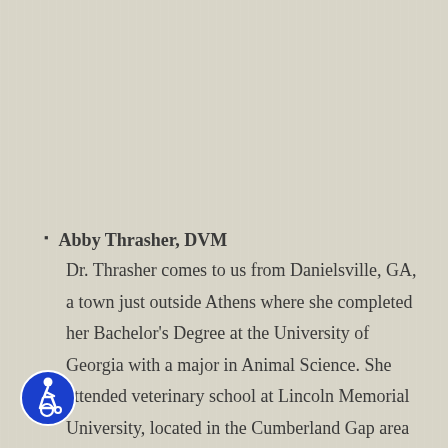Abby Thrasher, DVM
Dr. Thrasher comes to us from Danielsville, GA, a town just outside Athens where she completed her Bachelor's Degree at the University of Georgia with a major in Animal Science. She attended veterinary school at Lincoln Memorial University, located in the Cumberland Gap area of Tennessee, and even completed one of her clinical rotations here at Bluegrass. In May 2022
[Figure (illustration): Blue circular accessibility icon showing a person in a wheelchair]